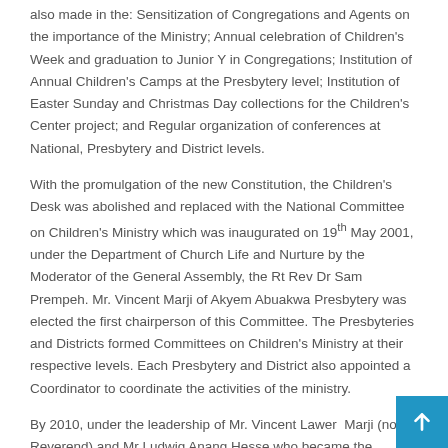also made in the: Sensitization of Congregations and Agents on the importance of the Ministry; Annual celebration of Children's Week and graduation to Junior Y in Congregations; Institution of Annual Children's Camps at the Presbytery level; Institution of Easter Sunday and Christmas Day collections for the Children's Center project; and Regular organization of conferences at National, Presbytery and District levels.
With the promulgation of the new Constitution, the Children's Desk was abolished and replaced with the National Committee on Children's Ministry which was inaugurated on 19th May 2001, under the Department of Church Life and Nurture by the Moderator of the General Assembly, the Rt Rev Dr Sam Prempeh. Mr. Vincent Marji of Akyem Abuakwa Presbytery was elected the first chairperson of this Committee. The Presbyteries and Districts formed Committees on Children's Ministry at their respective levels. Each Presbytery and District also appointed a Coordinator to coordinate the activities of the ministry.
By 2010, under the leadership of Mr. Vincent Lawer Marji (now Reverend) and Mr Ludwig Anang Hesse who became the Chairperson of the National Committee on Children's Ministry in